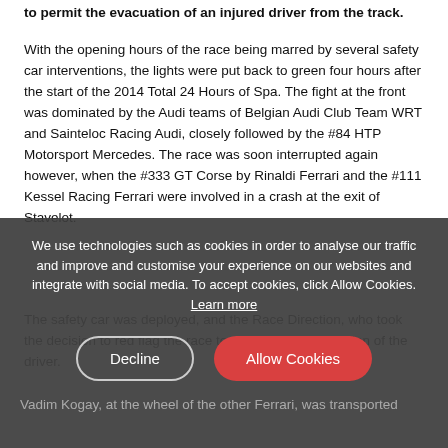to permit the evacuation of an injured driver from the track.
With the opening hours of the race being marred by several safety car interventions, the lights were put back to green four hours after the start of the 2014 Total 24 Hours of Spa. The fight at the front was dominated by the Audi teams of Belgian Audi Club Team WRT and Sainteloc Racing Audi, closely followed by the #84 HTP Motorsport Mercedes. The race was soon interrupted again however, when the #333 GT Corse by Rinaldi Ferrari and the #111 Kessel Racing Ferrari were involved in a crash at the exit of Stavelot.
The safety car was deployed, and the Race Direction, who took the decision to red flag the race to enable safe evacuation of the driver.
Vadim Kogay, at the wheel of the other Ferrari, was transported
We use technologies such as cookies in order to analyse our traffic and improve and customise your experience on our websites and integrate with social media. To accept cookies, click Allow Cookies. Learn more